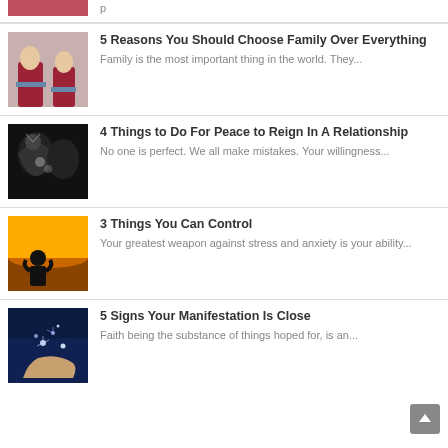[Figure (photo): Partial top of page showing cropped image of sneakers/feet]
[Figure (photo): Two people's feet wearing sneakers and jeans viewed from above]
5 Reasons You Should Choose Family Over Everything
Family is the most important thing in the world. They...
[Figure (photo): Black silhouette of two heads face to face with floral brain imagery]
4 Things to Do For Peace to Reign In A Relationship
No one is perfect. We all make mistakes. Your willingness...
[Figure (photo): Silhouette of a person praying against an orange sunset sky]
3 Things You Can Control
Your greatest weapon against stress and anxiety is your ability...
[Figure (photo): Hand holding glowing stars/sparkles against blue background]
5 Signs Your Manifestation Is Close
Faith being the substance of things hoped for, is an...